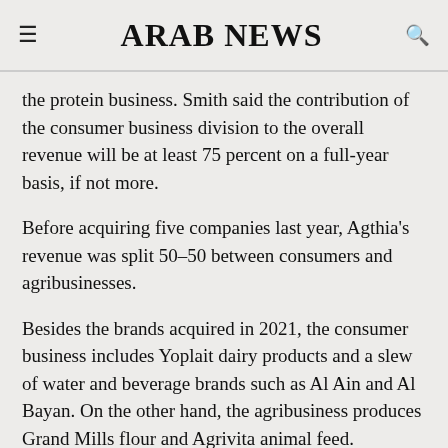ARAB NEWS
the protein business. Smith said the contribution of the consumer business division to the overall revenue will be at least 75 percent on a full-year basis, if not more.
Before acquiring five companies last year, Agthia's revenue was split 50-50 between consumers and agribusinesses.
Besides the brands acquired in 2021, the consumer business includes Yoplait dairy products and a slew of water and beverage brands such as Al Ain and Al Bayan. On the other hand, the agribusiness produces Grand Mills flour and Agrivita animal feed.